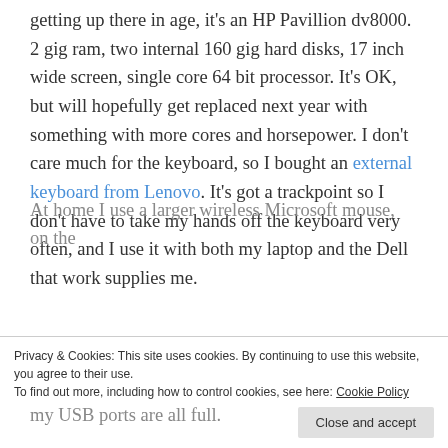getting up there in age, it's an HP Pavillion dv8000. 2 gig ram, two internal 160 gig hard disks, 17 inch wide screen, single core 64 bit processor. It's OK, but will hopefully get replaced next year with something with more cores and horsepower. I don't care much for the keyboard, so I bought an external keyboard from Lenovo. It's got a trackpoint so I don't have to take my hands off the keyboard very often, and I use it with both my laptop and the Dell that work supplies me.
At home I use a larger wireless Microsoft mouse, on the
Privacy & Cookies: This site uses cookies. By continuing to use this website, you agree to their use. To find out more, including how to control cookies, see here: Cookie Policy
my USB ports are all full.